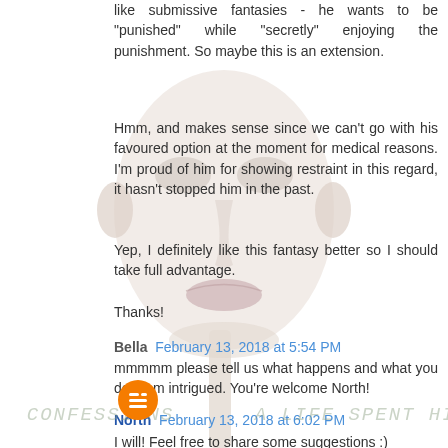like submissive fantasies - he wants to be "punished" while "secretly" enjoying the punishment. So maybe this is an extension.
Hmm, and makes sense since we can't go with his favoured option at the moment for medical reasons. I'm proud of him for showing restraint in this regard, it hasn't stopped him in the past.
Yep, I definitely like this fantasy better so I should take full advantage.
Thanks!
Bella  February 13, 2018 at 5:54 PM
mmmmm please tell us what happens and what you do! I am intrigued. You're welcome North!
North  February 13, 2018 at 6:02 PM
I will! Feel free to share some suggestions :)
[Figure (illustration): Background image of a pale mannequin-like face/head, partially transparent, centered on the page]
[Figure (logo): Blogger orange circle icon at bottom left]
CONFESSIONS    A LIFE SPENT HIDING